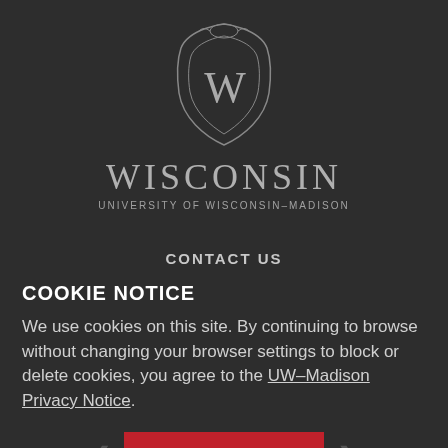[Figure (logo): University of Wisconsin-Madison crest/shield logo with W monogram, above the word WISCONSIN and UNIVERSITY OF WISCONSIN-MADISON]
CONTACT US
— Bascom Hall
500 Lincoln Drive
COOKIE NOTICE
We use cookies on this site. By continuing to browse without changing your browser settings to block or delete cookies, you agree to the UW–Madison Privacy Notice.
GOT IT!